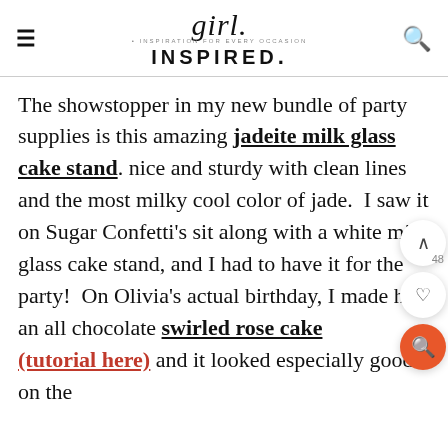girl. INSPIRATION FOR EVERY OCCASION INSPIRED.
The showstopper in my new bundle of party supplies is this amazing jadeite milk glass cake stand. nice and sturdy with clean lines and the most milky cool color of jade.  I saw it on Sugar Confetti's sit along with a white milk glass cake stand, and I had to have it for the party!  On Olivia's actual birthday, I made her an all chocolate swirled rose cake (tutorial here) and it looked especially good on the